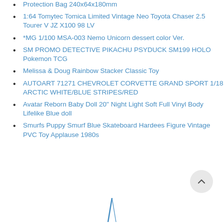Protection Bag 240x64x180mm
1:64 Tomytec Tomica Limited Vintage Neo Toyota Chaser 2.5 Tourer V JZ X100 98 LV
*MG 1/100 MSA-003 Nemo Unicorn dessert color Ver.
SM PROMO DETECTIVE PIKACHU PSYDUCK SM199 HOLO Pokemon TCG
Melissa & Doug Rainbow Stacker Classic Toy
AUTOART 71271 CHEVROLET CORVETTE GRAND SPORT 1/18 ARCTIC WHITE/BLUE STRIPES/RED
Avatar Reborn Baby Doll 20" Night Light Soft Full Vinyl Body Lifelike Blue doll
Smurfs Puppy Smurf Blue Skateboard Hardees Figure Vintage PVC Toy Applause 1980s